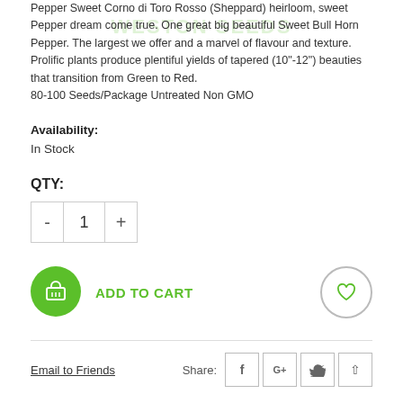Pepper Sweet Corno di Toro Rosso (Sheppard) heirloom, sweet Pepper dream come true. One great big beautiful Sweet Bull Horn Pepper. The largest we offer and a marvel of flavour and texture. Prolific plants produce plentiful yields of tapered (10"-12") beauties that transition from Green to Red.
80-100 Seeds/Package Untreated Non GMO
Availability:
In Stock
QTY:
[Figure (other): Quantity selector control with minus button, number 1, and plus button]
[Figure (other): Add to cart button with green shopping basket icon and green text ADD TO CART, plus a heart/wishlist circle button on the right]
Email to Friends
Share:
[Figure (other): Social share buttons: Facebook (f), Google+ (G+), Twitter (bird), and an up-arrow scroll button]